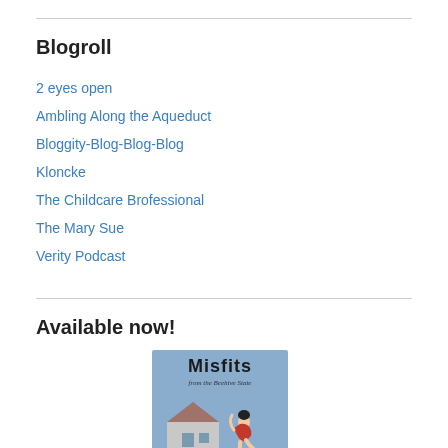Blogroll
2 eyes open
Ambling Along the Aqueduct
Bloggity-Blog-Blog-Blog
Kloncke
The Childcare Brofessional
The Mary Sue
Verity Podcast
Available now!
[Figure (illustration): Book cover for 'Misfits from the Beehive State' — a light blue cover with illustrated woman in red swimsuit sitting on a wall, with a house behind her. Text reads 'Misfits from the Beehive State' and 'stories by Kristie Ann King']